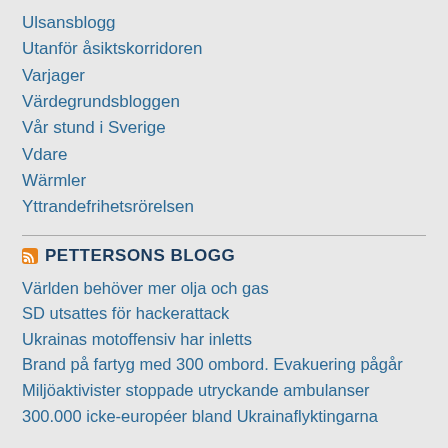Ulsansblogg
Utanför åsiktskorridoren
Varjager
Värdegrundsbloggen
Vår stund i Sverige
Vdare
Wärmler
Yttrandefrihetsrörelsen
PETTERSONS BLOGG
Världen behöver mer olja och gas
SD utsattes för hackerattack
Ukrainas motoffensiv har inletts
Brand på fartyg med 300 ombord. Evakuering pågår
Miljöaktivister stoppade utryckande ambulanser
300.000 icke-européer bland Ukrainaflyktingarna